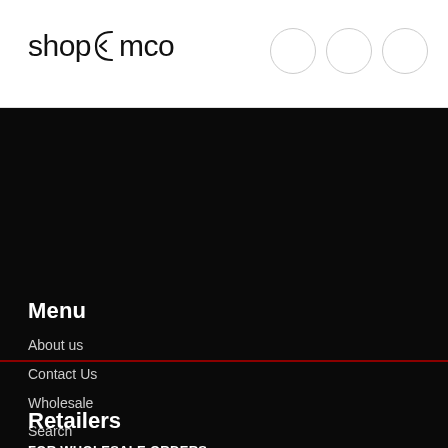shopemco
Menu
About us
Contact Us
Wholesale
Search
Retailers
FOR WHOLESALE ORDERS
Call us at 877-436-6988 and